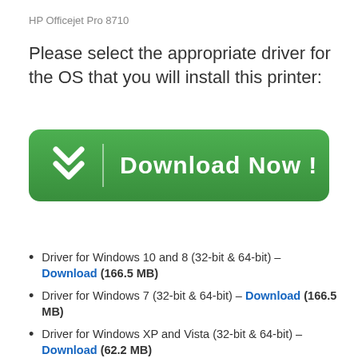HP Officejet Pro 8710
Please select the appropriate driver for the OS that you will install this printer:
[Figure (other): Green Download Now button with double chevron arrow icon and vertical divider]
Driver for Windows 10 and 8 (32-bit & 64-bit) – Download (166.5 MB)
Driver for Windows 7 (32-bit & 64-bit) – Download (166.5 MB)
Driver for Windows XP and Vista (32-bit & 64-bit) – Download (62.2 MB)
Driver for Mac OS – Download (9.1 MB)